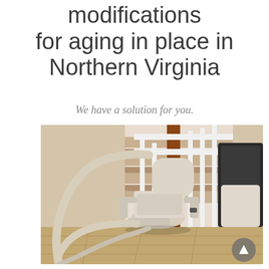modifications for aging in place in Northern Virginia
We have a solution for you.
[Figure (photo): A curved stairlift rail and chair installed at the bottom of a staircase in a residential home. The stairlift has a beige/cream colored seat with armrests and is mounted on a curved track. Wooden stair balusters and a brown handrail are visible in the background.]